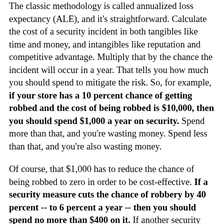The classic methodology is called annualized loss expectancy (ALE), and it's straightforward. Calculate the cost of a security incident in both tangibles like time and money, and intangibles like reputation and competitive advantage. Multiply that by the chance the incident will occur in a year. That tells you how much you should spend to mitigate the risk. So, for example, if your store has a 10 percent chance of getting robbed and the cost of being robbed is $10,000, then you should spend $1,000 a year on security. Spend more than that, and you're wasting money. Spend less than that, and you're also wasting money.
Of course, that $1,000 has to reduce the chance of being robbed to zero in order to be cost-effective. If a security measure cuts the chance of robbery by 40 percent -- to 6 percent a year -- then you should spend no more than $400 on it. If another security measure reduces it by 80 percent, it's worth $800. And if two security measures both reduce